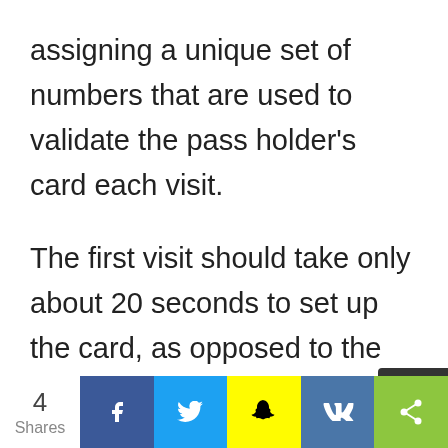assigning a unique set of numbers that are used to validate the pass holder's card each visit.

The first visit should take only about 20 seconds to set up the card, as opposed to the additional time of taking a photo and getting it printed on the card, according to spokeswoman Elizabeth Gotway.
[Figure (infographic): Social share bar with count of 4 Shares, and buttons for Facebook, Twitter, Snapchat, VK, and a generic share icon]